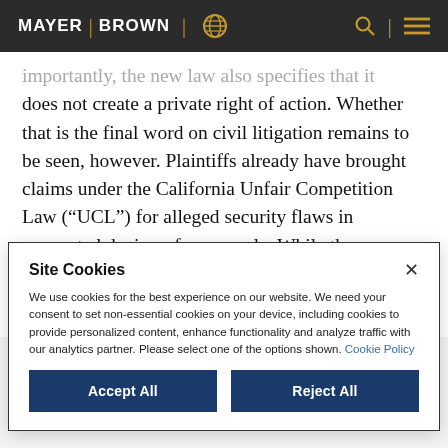MAYER | BROWN
importantly, the new law also specifies that it does not create a private right of action. Whether that is the final word on civil litigation remains to be seen, however. Plaintiffs already have brought claims under the California Unfair Competition Law (“UCL”) for alleged security flaws in connected devices, for example. While the
Site Cookies
We use cookies for the best experience on our website. We need your consent to set non-essential cookies on your device, including cookies to provide personalized content, enhance functionality and analyze traffic with our analytics partner. Please select one of the options shown. Cookie Policy
Accept All
Reject All